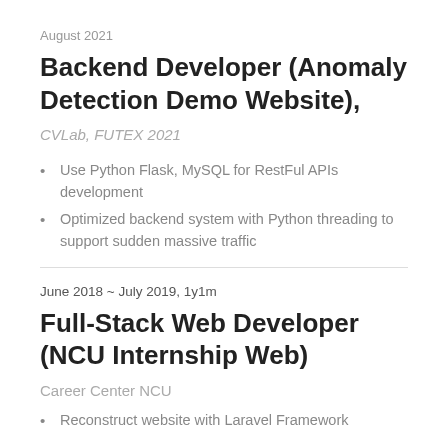August 2021
Backend Developer (Anomaly Detection Demo Website),
CVLab, FUTEX 2021
Use Python Flask, MySQL for RestFul APIs development
Optimized backend system with Python threading to support sudden massive traffic
June 2018 ~ July 2019, 1y1m
Full-Stack Web Developer (NCU Internship Web)
Career Center NCU
Reconstruct website with Laravel Framework